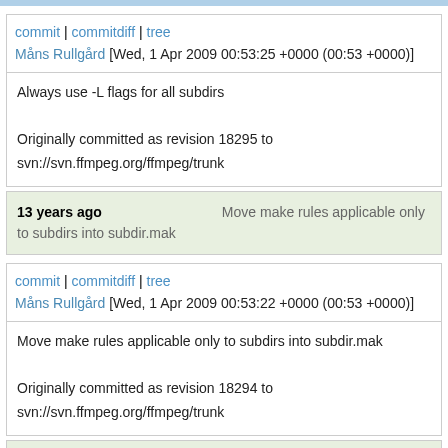commit | commitdiff | tree
Måns Rullgård [Wed, 1 Apr 2009 00:53:25 +0000 (00:53 +0000)]
Always use -L flags for all subdirs

Originally committed as revision 18295 to svn://svn.ffmpeg.org/ffmpeg/trunk
13 years ago   Move make rules applicable only to subdirs into subdir.mak
commit | commitdiff | tree
Måns Rullgård [Wed, 1 Apr 2009 00:53:22 +0000 (00:53 +0000)]
Move make rules applicable only to subdirs into subdir.mak

Originally committed as revision 18294 to svn://svn.ffmpeg.org/ffmpeg/trunk
13 years ago   add another dv fourcc CDVH
commit | commitdiff | tree